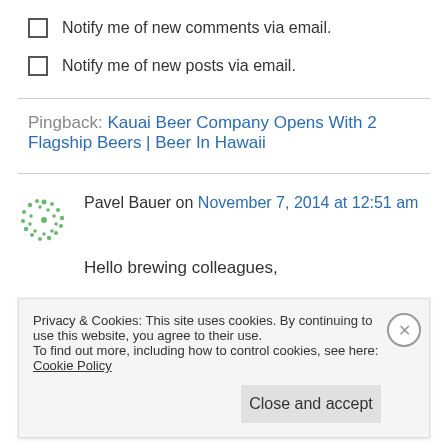Notify me of new comments via email.
Notify me of new posts via email.
Pingback: Kauai Beer Company Opens With 2 Flagship Beers | Beer In Hawaii
Pavel Bauer on November 7, 2014 at 12:51 am
Hello brewing colleagues,
health of the country where beer is the number
Privacy & Cookies: This site uses cookies. By continuing to use this website, you agree to their use.
To find out more, including how to control cookies, see here: Cookie Policy
Close and accept